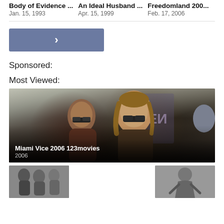Body of Evidence ...   Jan. 15, 1993
An Ideal Husband ...   Apr. 15, 1999
Freedomland 200...   Feb. 17, 2006
[Figure (screenshot): A blue button with a right-arrow chevron (>) indicating navigation]
Sponsored:
Most Viewed:
[Figure (photo): Movie still from Miami Vice 2006 showing two men in sunglasses in an urban setting]
Miami Vice 2006 123movies
2006
[Figure (photo): Two smaller thumbnail images at the bottom of the page]